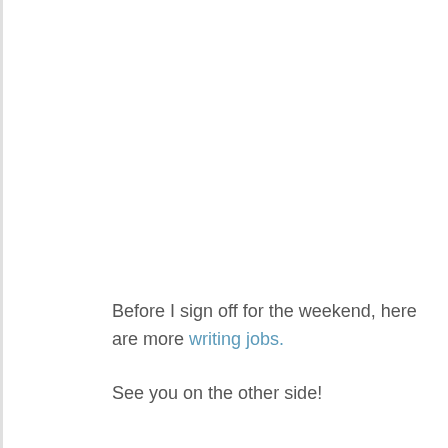Before I sign off for the weekend, here are more writing jobs.
See you on the other side!